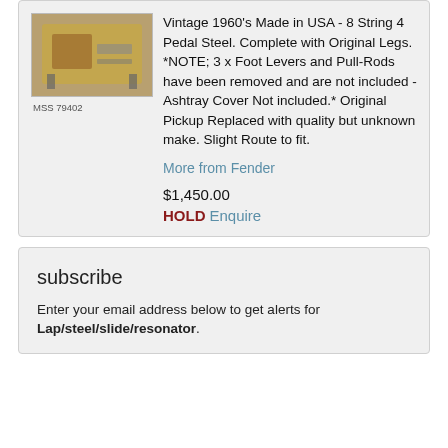[Figure (photo): Vintage steel guitar instrument photo, labeled MSS 79402]
Vintage 1960's Made in USA - 8 String 4 Pedal Steel. Complete with Original Legs. *NOTE; 3 x Foot Levers and Pull-Rods have been removed and are not included - Ashtray Cover Not included.* Original Pickup Replaced with quality but unknown make. Slight Route to fit.
More from Fender
$1,450.00
HOLD  Enquire
subscribe
Enter your email address below to get alerts for Lap/steel/slide/resonator.